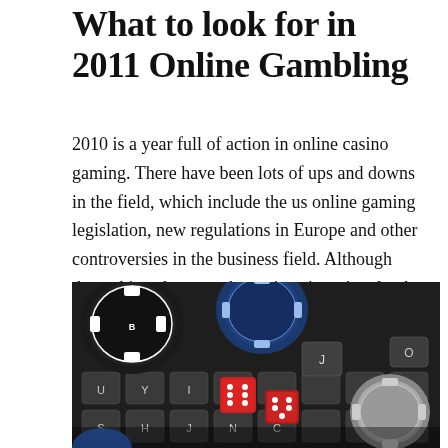What to look for in 2011 Online Gambling
2010 is a year full of action in online casino gaming. There have been lots of ups and downs in the field, which include the us online gaming legislation, new regulations in Europe and other controversies in the business field. Although those things happen, the casino sites aimed to be stronger and tried to expand their business to all corners of the world.
[Figure (photo): Photo of casino chips (black, blue), red dice, and a laptop keyboard seen from above.]